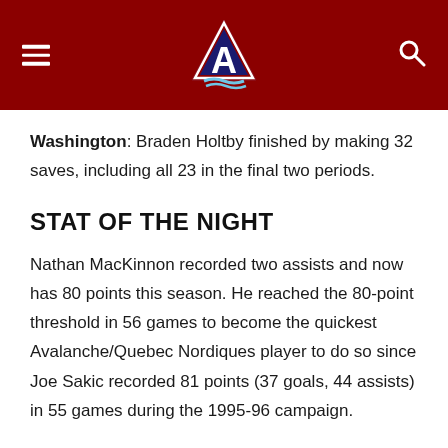[Figure (logo): Colorado Avalanche logo with hamburger menu icon on left and search icon on right, on dark red background]
Washington: Braden Holtby finished by making 32 saves, including all 23 in the final two periods.
STAT OF THE NIGHT
Nathan MacKinnon recorded two assists and now has 80 points this season. He reached the 80-point threshold in 56 games to become the quickest Avalanche/Quebec Nordiques player to do so since Joe Sakic recorded 81 points (37 goals, 44 assists) in 55 games during the 1995-96 campaign.
NOTEBOOK
Andre Burakovsky scored for the 18th time this season,